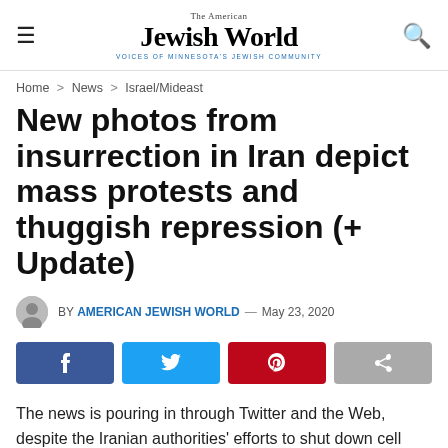The American Jewish World – VOICES OF MINNESOTA'S JEWISH COMMUNITY
Home > News > Israel/Mideast
New photos from insurrection in Iran depict mass protests and thuggish repression (+ Update)
BY AMERICAN JEWISH WORLD — May 23, 2020
The news is pouring in through Twitter and the Web, despite the Iranian authorities' efforts to shut down cell phone networks and the Internet.